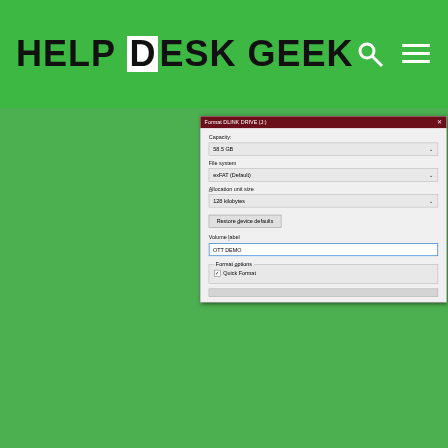[Figure (screenshot): Help Desk Geek website header with green background, logo text 'HELP DESK GEEK', search icon and hamburger menu icon on the right]
[Figure (screenshot): Windows Format dialog box for DLINK DRIVE (J:) showing Capacity: 58.5 GB, File system: exFAT (Default), Allocation unit size: 128 kilobytes, Restore device defaults button, Volume label: OTT DEMO, Format options with Quick Format checkbox checked, and a progress bar at the bottom]